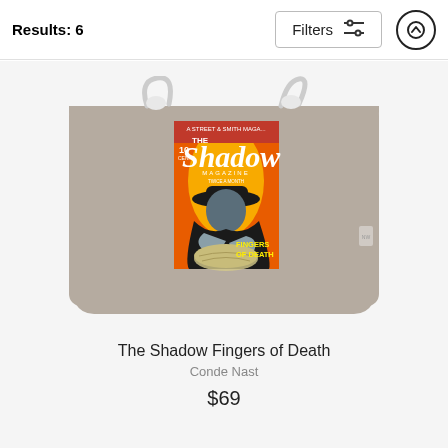Results: 6
[Figure (screenshot): A tote bag product image showing a gray canvas bag with rope handles and a printed 'The Shadow Magazine - Fingers of Death' pulp magazine cover artwork featuring a shadowy figure in a wide-brimmed hat looming over a globe, with orange/red background]
The Shadow Fingers of Death
Conde Nast
$69